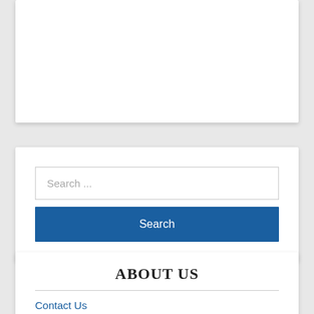protected and maintained.
[Figure (screenshot): Search widget with input field placeholder 'Search ...' and a blue Search button]
ABOUT US
Contact Us